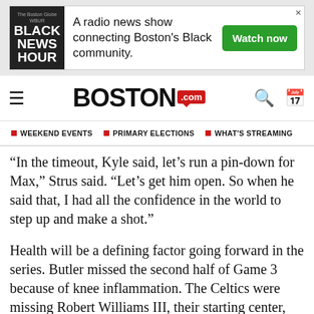[Figure (other): Advertisement banner for Black News Hour radio show. Text: 'A radio news show connecting Boston's Black community.' with a green Watch now button.]
BOSTON.com
WEEKEND EVENTS   PRIMARY ELECTIONS   WHAT'S STREAMING
“In the timeout, Kyle said, let’s run a pin-down for Max,” Strus said. “Let’s get him open. So when he said that, I had all the confidence in the world to step up and make a shot.”
Health will be a defining factor going forward in the series. Butler missed the second half of Game 3 because of knee inflammation. The Celtics were missing Robert Williams III, their starting center, because of knee swelling. He is considered day-to-day. Udoka said after the game that Smart had rolled his ankle and Tatum had a shoulder stinger.